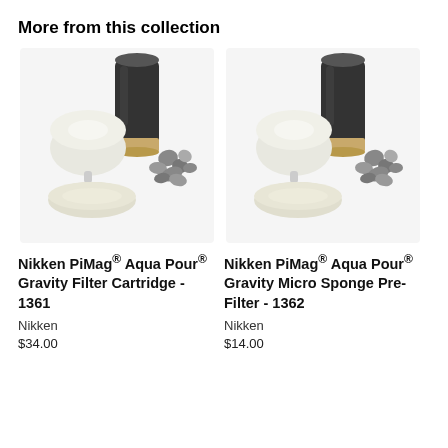More from this collection
[Figure (photo): Nikken PiMag Aqua Pour Gravity Filter Cartridge product photo showing filter components including black cylinder, white dome cap, ceramic disc, and mineral stones]
Nikken PiMag® Aqua Pour® Gravity Filter Cartridge - 1361
Nikken
$34.00
[Figure (photo): Nikken PiMag Aqua Pour Gravity Micro Sponge Pre-Filter product photo showing similar filter components including black cylinder, white dome cap, ceramic disc, and mineral stones]
Nikken PiMag® Aqua Pour® Gravity Micro Sponge Pre-Filter - 1362
Nikken
$14.00